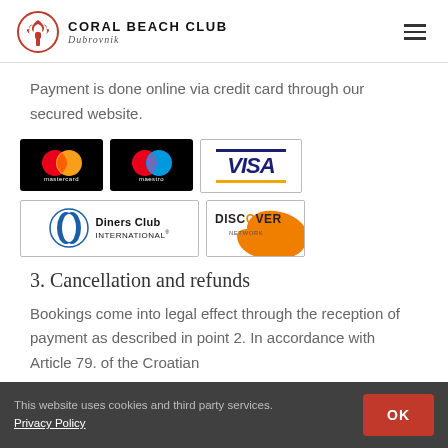CORAL BEACH CLUB Dubrovnik
Payment is done online via credit card through our secured website.
[Figure (logo): Payment card logos: Mastercard, Maestro, VISA, Diners Club International, Discover Network]
3. Cancellation and refunds
Bookings come into legal effect through the reception of payment as described in point 2. In accordance with Article 79. of the Croatian
This website uses cookies and third party services. Privacy Policy